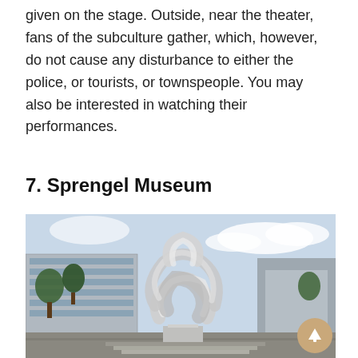given on the stage. Outside, near the theater, fans of the subculture gather, which, however, do not cause any disturbance to either the police, or tourists, or townspeople. You may also be interested in watching their performances.
7. Sprengel Museum
[Figure (photo): Exterior photograph of the Sprengel Museum showing a large silver abstract spiral sculpture in the foreground, with the modern museum building, trees, and a cloudy sky in the background. A scroll-to-top button is visible in the bottom-right corner.]